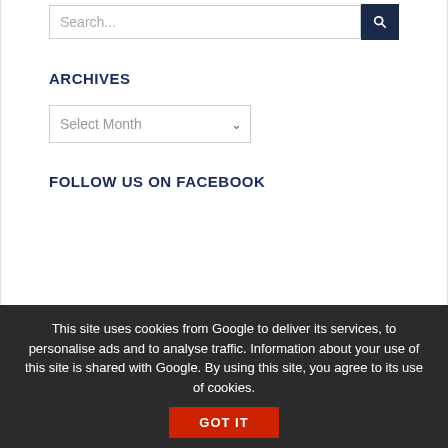ARCHIVES
Select Month
FOLLOW US ON FACEBOOK
This site uses cookies from Google to deliver its services, to personalise ads and to analyse traffic. Information about your use of this site is shared with Google. By using this site, you agree to its use of cookies. GOT IT